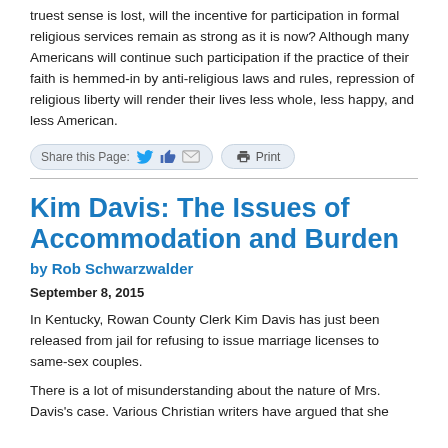truest sense is lost, will the incentive for participation in formal religious services remain as strong as it is now? Although many Americans will continue such participation if the practice of their faith is hemmed-in by anti-religious laws and rules, repression of religious liberty will render their lives less whole, less happy, and less American.
[Figure (other): Share this Page bar with Twitter, Facebook thumbs-up, email icons and a Print button]
Kim Davis: The Issues of Accommodation and Burden
by Rob Schwarzwalder
September 8, 2015
In Kentucky, Rowan County Clerk Kim Davis has just been released from jail for refusing to issue marriage licenses to same-sex couples.
There is a lot of misunderstanding about the nature of Mrs. Davis's case. Various Christian writers have argued that she